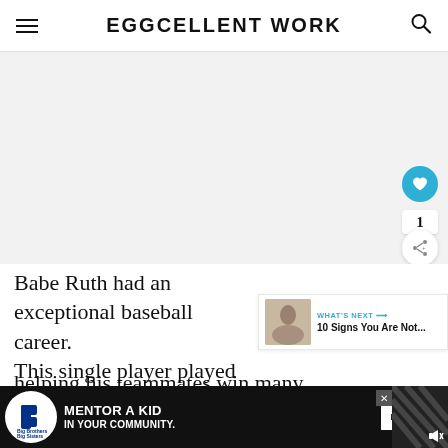EGGCELLENT WORK
[Figure (photo): Large image placeholder area with light gray background]
Babe Ruth had an exceptional baseball career. This single player played a significa... helping his teammates win many cha... ition. Whi...
[Figure (screenshot): WHAT'S NEXT promo box: '10 Signs You Are Not...' with small thumbnail image]
[Figure (infographic): Advertisement bar: Big Brothers Big Sisters logo, MENTOR A KID IN YOUR COMMUNITY, Learn How button]